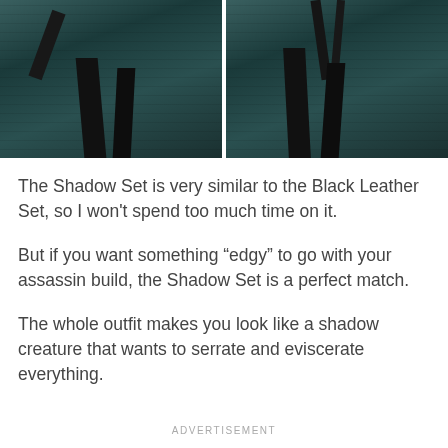[Figure (photo): Two side-by-side screenshots from a video game showing dark creature legs/character with teal-tinted environment floor]
The Shadow Set is very similar to the Black Leather Set, so I won't spend too much time on it.
But if you want something “edgy” to go with your assassin build, the Shadow Set is a perfect match.
The whole outfit makes you look like a shadow creature that wants to serrate and eviscerate everything.
ADVERTISEMENT